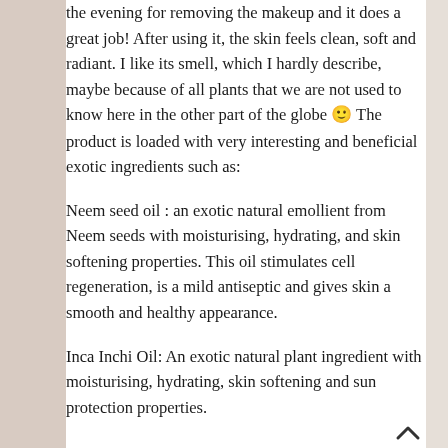the evening for removing the makeup and it does a great job! After using it, the skin feels clean, soft and radiant. I like its smell, which I hardly describe, maybe because of all plants that we are not used to know here in the other part of the globe 🙂 The product is loaded with very interesting and beneficial exotic ingredients such as:
Neem seed oil : an exotic natural emollient from Neem seeds with moisturising, hydrating, and skin softening properties. This oil stimulates cell regeneration, is a mild antiseptic and gives skin a smooth and healthy appearance.
Inca Inchi Oil: An exotic natural plant ingredient with moisturising, hydrating, skin softening and sun protection properties.